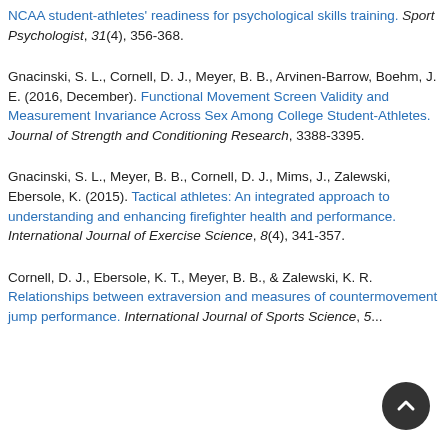NCAA student-athletes' readiness for psychological skills training. Sport Psychologist, 31(4), 356-368.
Gnacinski, S. L., Cornell, D. J., Meyer, B. B., Arvinen-Barrow, Boehm, J. E. (2016, December). Functional Movement Screen Validity and Measurement Invariance Across Sex Among College Student-Athletes. Journal of Strength and Conditioning Research, 3388-3395.
Gnacinski, S. L., Meyer, B. B., Cornell, D. J., Mims, J., Zalewski, Ebersole, K. (2015). Tactical athletes: An integrated approach to understanding and enhancing firefighter health and performance. International Journal of Exercise Science, 8(4), 341-357.
Cornell, D. J., Ebersole, K. T., Meyer, B. B., & Zalewski, K. R. Relationships between extraversion and measures of countermovement jump performance. International Journal of Sports Science, 5...